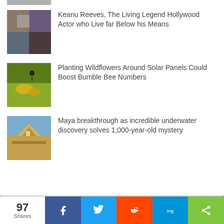[Figure (photo): Partial article thumbnail at top]
Keanu Reeves, The Living Legend Hollywood Actor who Live far Below his Means
Planting Wildflowers Around Solar Panels Could Boost Bumble Bee Numbers
Maya breakthrough as incredible underwater discovery solves 1,000-year-old mystery
97 Shares | Facebook | Twitter | Reddit | Pinterest | Share